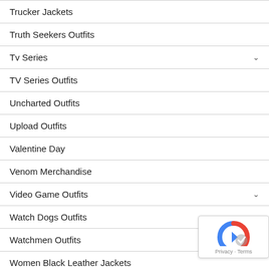Trucker Jackets
Truth Seekers Outfits
Tv Series
TV Series Outfits
Uncharted Outfits
Upload Outfits
Valentine Day
Venom Merchandise
Video Game Outfits
Watch Dogs Outfits
Watchmen Outfits
Women Black Leather Jackets